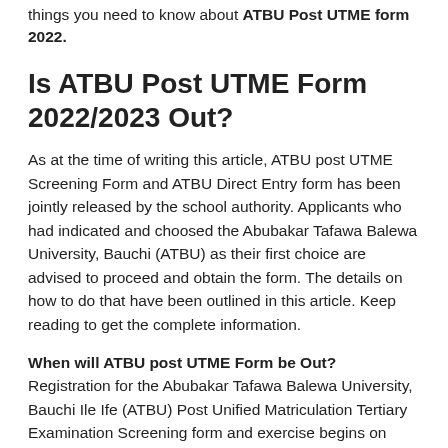things you need to know about ATBU Post UTME form 2022.
Is ATBU Post UTME Form 2022/2023 Out?
As at the time of writing this article, ATBU post UTME Screening Form and ATBU Direct Entry form has been jointly released by the school authority. Applicants who had indicated and choosed the Abubakar Tafawa Balewa University, Bauchi (ATBU) as their first choice are advised to proceed and obtain the form. The details on how to do that have been outlined in this article. Keep reading to get the complete information.
When will ATBU post UTME Form be Out? Registration for the Abubakar Tafawa Balewa University, Bauchi Ile Ife (ATBU) Post Unified Matriculation Tertiary Examination Screening form and exercise begins on Tuesday, 5 October and end on Tuesday, 19 October, 2022.